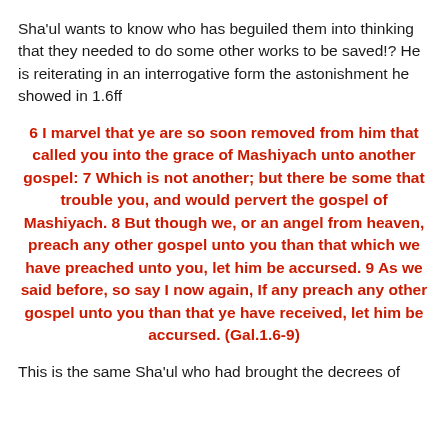Sha'ul wants to know who has beguiled them into thinking that they needed to do some other works to be saved!? He is reiterating in an interrogative form the astonishment he showed in 1.6ff
6 I marvel that ye are so soon removed from him that called you into the grace of Mashiyach unto another gospel: 7 Which is not another; but there be some that trouble you, and would pervert the gospel of Mashiyach. 8 But though we, or an angel from heaven, preach any other gospel unto you than that which we have preached unto you, let him be accursed. 9 As we said before, so say I now again, If any preach any other gospel unto you than that ye have received, let him be accursed. (Gal.1.6-9)
This is the same Sha'ul who had brought the decrees of